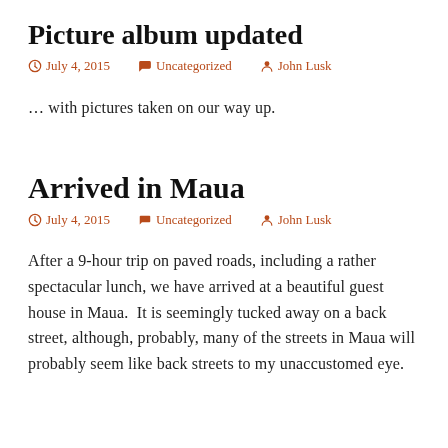Picture album updated
July 4, 2015   Uncategorized   John Lusk
… with pictures taken on our way up.
Arrived in Maua
July 4, 2015   Uncategorized   John Lusk
After a 9-hour trip on paved roads, including a rather spectacular lunch, we have arrived at a beautiful guest house in Maua.  It is seemingly tucked away on a back street, although, probably, many of the streets in Maua will probably seem like back streets to my unaccustomed eye.